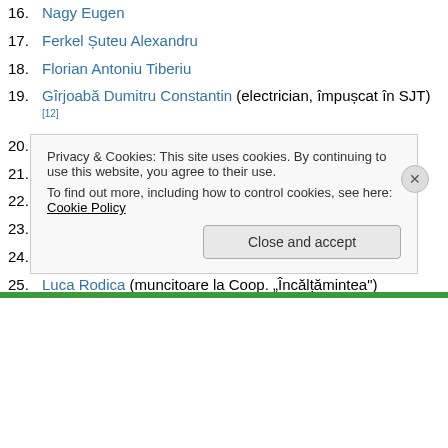16. Nagy Eugen
17. Ferkel Șuteu Alexandru
18. Florian Antoniu Tiberiu
19. Gîrjoabă Dumitru Constantin (electrician, împușcat în SJT)[12]
20. Hațegan Petru
21. Iosub Constantin
22. Iotcovici Gheorghe Nuțu
23. Ewinger Slobodanca
24. Ianoș Paris
25. Luca Rodica (muncitoare la Coop. „Încălțămintea")
Privacy & Cookies: This site uses cookies. By continuing to use this website, you agree to their use. To find out more, including how to control cookies, see here: Cookie Policy